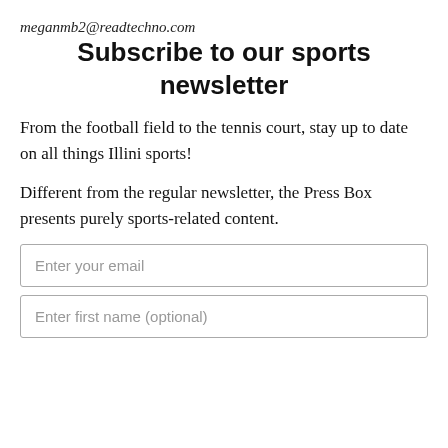meganmb2@readtechno.com
Subscribe to our sports newsletter
From the football field to the tennis court, stay up to date on all things Illini sports!
Different from the regular newsletter, the Press Box presents purely sports-related content.
Enter your email
Enter first name (optional)